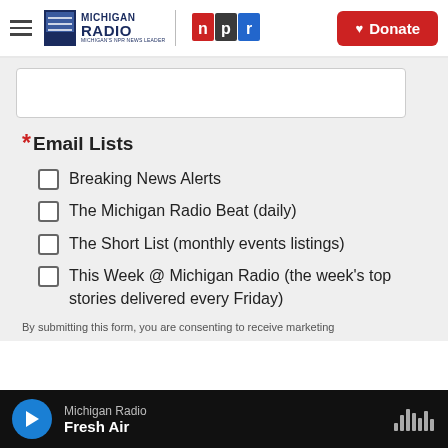[Figure (logo): Michigan Radio NPR logo and navigation header with hamburger menu and Donate button]
* Email Lists
Breaking News Alerts
The Michigan Radio Beat (daily)
The Short List (monthly events listings)
This Week @ Michigan Radio (the week's top stories delivered every Friday)
By submitting this form, you are consenting to receive marketing
[Figure (screenshot): Audio player bar at bottom showing Michigan Radio / Fresh Air with play button and waveform icon]